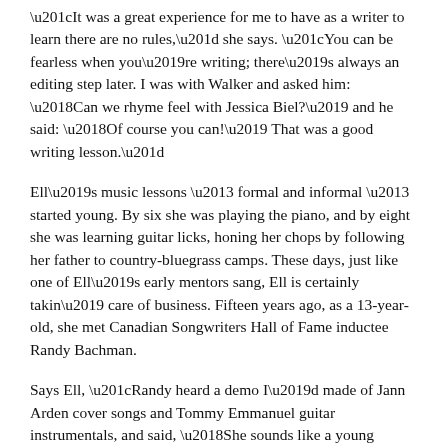“It was a great experience for me to have as a writer to learn there are no rules,” she says. “You can be fearless when you’re writing; there’s always an editing step later. I was with Walker and asked him: ‘Can we rhyme feel with Jessica Biel?’ and he said: ‘Of course you can!’ That was a good writing lesson.”
Ell’s music lessons – formal and informal – started young. By six she was playing the piano, and by eight she was learning guitar licks, honing her chops by following her father to country-bluegrass camps. These days, just like one of Ell’s early mentors sang, Ell is certainly takin’ care of business. Fifteen years ago, as a 13-year-old, she met Canadian Songwriters Hall of Fame inductee Randy Bachman.
Says Ell, “Randy heard a demo I’d made of Jann Arden cover songs and Tommy Emmanuel guitar instrumentals, and said, ‘She sounds like a young female Chet Atkins; I need to meet her.’” A writing session between Bachman and Ell was arranged, and the Guess Who co-founder became the budding songwriter’s biggest fan. “He got me into blues, jazz, and rock, and that gave me a whole new vocabulary for my music that I hadn’t tapped into yet,” says Ell.